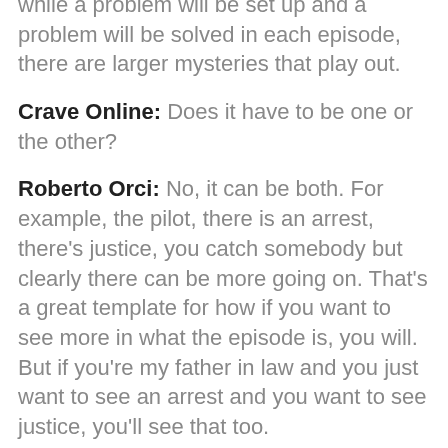while a problem will be set up and a problem will be solved in each episode, there are larger mysteries that play out.
Crave Online: Does it have to be one or the other?
Roberto Orci: No, it can be both. For example, the pilot, there is an arrest, there's justice, you catch somebody but clearly there can be more going on. That's a great template for how if you want to see more in what the episode is, you will. But if you're my father in law and you just want to see an arrest and you want to see justice, you'll see that too.
Crave Online: After doing Transformers and Star Trek based on classic properties, did you have an itch to come up with something your own?
Alex Kurtzman: We always do. Doing things like Transformers are great for their own reasons but